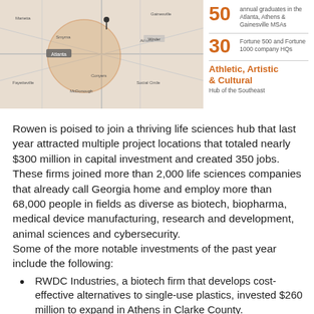[Figure (map): Map showing Atlanta area region with a circular highlighted zone centered on Athens/Atlanta area, showing roads and city names including Marietta, Gainesville, Athens, and surrounding cities.]
50 annual graduates in the Atlanta, Athens & Gainesville MSAs
30 Fortune 500 and Fortune 1000 company HQs
Athletic, Artistic & Cultural
Hub of the Southeast
Rowen is poised to join a thriving life sciences hub that last year attracted multiple project locations that totaled nearly $300 million in capital investment and created 350 jobs. These firms joined more than 2,000 life sciences companies that already call Georgia home and employ more than 68,000 people in fields as diverse as biotech, biopharma, medical device manufacturing, research and development, animal sciences and cybersecurity.
Some of the more notable investments of the past year include the following:
RWDC Industries, a biotech firm that develops cost-effective alternatives to single-use plastics, invested $260 million to expand in Athens in Clarke County.
Medical device manufacturer and distributor Medline